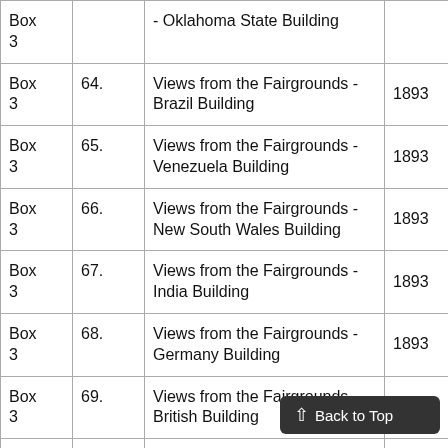| Box | Item | Description | Year |
| --- | --- | --- | --- |
| Box 3 |  | - Oklahoma State Building |  |
| Box 3 | 64. | Views from the Fairgrounds - Brazil Building | 1893 |
| Box 3 | 65. | Views from the Fairgrounds - Venezuela Building | 1893 |
| Box 3 | 66. | Views from the Fairgrounds - New South Wales Building | 1893 |
| Box 3 | 67. | Views from the Fairgrounds - India Building | 1893 |
| Box 3 | 68. | Views from the Fairgrounds - Germany Building | 1893 |
| Box 3 | 69. | Views from the Fairgrounds - British Building | 1893 |
| Box 3 | 70. | Views from the Fairgrounds - France Building | 1893 |
| Box 3 | 71. | Views from the Fairgroun... |  |